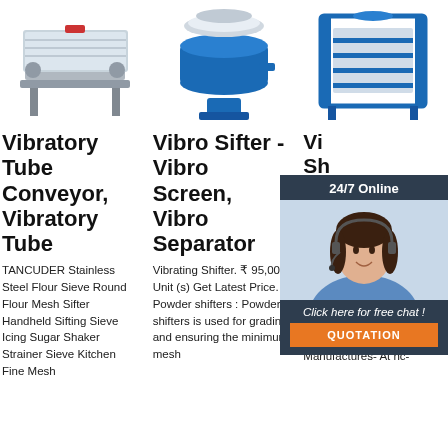[Figure (photo): Three industrial vibrating/sifting machine product images in a row at the top: a stainless steel tube conveyor machine on left, a blue vibro sifter in the center, and a blue frame sheet machine on the right.]
Vibratory Tube Conveyor, Vibratory Tube
TANCUDER Stainless Steel Flour Sieve Round Flour Mesh Sifter Handheld Sifting Sieve Icing Sugar Shaker Strainer Sieve Kitchen Fine Mesh
Vibro Sifter - Vibro Screen, Vibro Separator
Vibrating Shifter. ₹ 95,000 Unit (s) Get Latest Price. Powder shifters : Powder shifters is used for grading and ensuring the minimum mesh
[Figure (photo): Chat agent overlay with 24/7 Online header, smiling female agent wearing headset, Click here for free chat! prompt, and QUOTATION button in orange.]
Vi... Sh... Rs 95... | V... Si...
Best Sale Square Vibrating Sieve Machine Square Vibrating Sieve Machine Supplier And Manufactures- At hc-